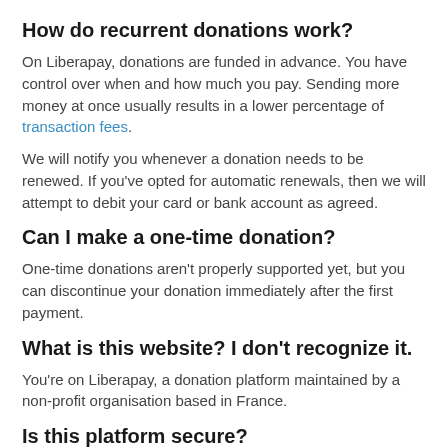How do recurrent donations work?
On Liberapay, donations are funded in advance. You have control over when and how much you pay. Sending more money at once usually results in a lower percentage of transaction fees.
We will notify you whenever a donation needs to be renewed. If you've opted for automatic renewals, then we will attempt to debit your card or bank account as agreed.
Can I make a one-time donation?
One-time donations aren't properly supported yet, but you can discontinue your donation immediately after the first payment.
What is this website? I don't recognize it.
You're on Liberapay, a donation platform maintained by a non-profit organisation based in France.
Is this platform secure?
Liberapay has been operating for 7 years without a…